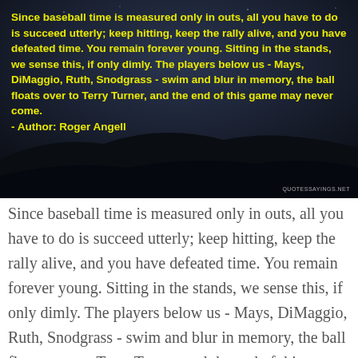[Figure (photo): Dark night landscape background with yellow bold text quote overlaid. Quote reads: Since baseball time is measured only in outs, all you have to do is succeed utterly; keep hitting, keep the rally alive, and you have defeated time. You remain forever young. Sitting in the stands, we sense this, if only dimly. The players below us - Mays, DiMaggio, Ruth, Snodgrass - swim and blur in memory, the ball floats over to Terry Turner, and the end of this game may never come. - Author: Roger Angell. Watermark: QUOTESSAYINGS.NET]
Since baseball time is measured only in outs, all you have to do is succeed utterly; keep hitting, keep the rally alive, and you have defeated time. You remain forever young. Sitting in the stands, we sense this, if only dimly. The players below us - Mays, DiMaggio, Ruth, Snodgrass - swim and blur in memory, the ball floats over to Terry Turner, and the end of this game may never come. — Roger Angell